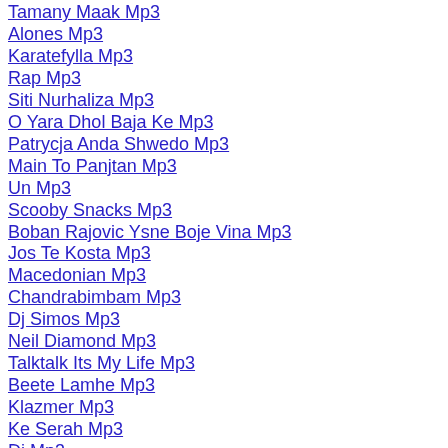Tamany Maak Mp3
Alones Mp3
Karatefylla Mp3
Rap Mp3
Siti Nurhaliza Mp3
O Yara Dhol Baja Ke Mp3
Patrycja Anda Shwedo Mp3
Main To Panjtan Mp3
Un Mp3
Scooby Snacks Mp3
Boban Rajovic Ysne Boje Vina Mp3
Jos Te Kosta Mp3
Macedonian Mp3
Chandrabimbam Mp3
Dj Simos Mp3
Neil Diamond Mp3
Talktalk Its My Life Mp3
Beete Lamhe Mp3
Klazmer Mp3
Ke Serah Mp3
Dj Mp3
Flow Mp3
Sarenka Mp3
Ram Sam Mp3
The Coors Mp3
Borneo Hill Mp3